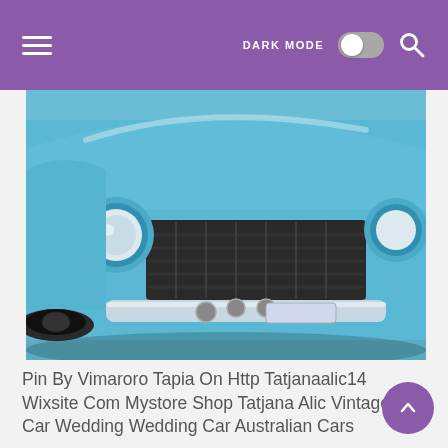DARK MODE [toggle] [search]
[Figure (photo): Close-up front view of a classic vintage light blue/teal car, showing the grill, headlights, chrome bumper, and front fender against a light background.]
Pin By Vimaroro Tapia On Http Tatjanaalic14 Wixsite Com Mystore Shop Tatjana Alic Vintage Car Wedding Wedding Car Australian Cars